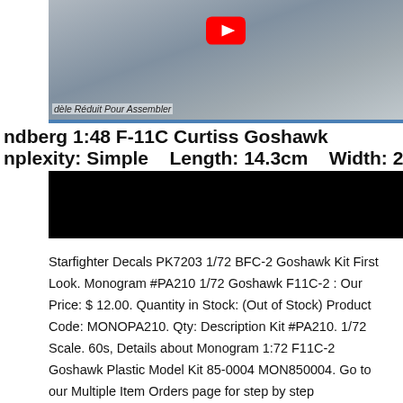[Figure (photo): Model airplane photo (Curtiss Goshawk) with YouTube play button overlay and caption 'dèle Réduit Pour Assembler']
ndberg 1:48 F-11C Curtiss Goshawk
nplexity: Simple    Length: 14.3cm    Width: 20.0cm
[Figure (photo): Black redacted/blurred image bar]
Starfighter Decals PK7203 1/72 BFC-2 Goshawk Kit First Look. Monogram #PA210 1/72 Goshawk F11C-2 : Our Price: $ 12.00. Quantity in Stock: (Out of Stock) Product Code: MONOPA210. Qty: Description Kit #PA210. 1/72 Scale. 60s, Details about Monogram 1:72 F11C-2 Goshawk Plastic Model Kit 85-0004 MON850004. Go to our Multiple Item Orders page for step by step instructions..
MONOGRAM 1968 GOSHAWK F11C-2 Navy Fighter Kit 1/72